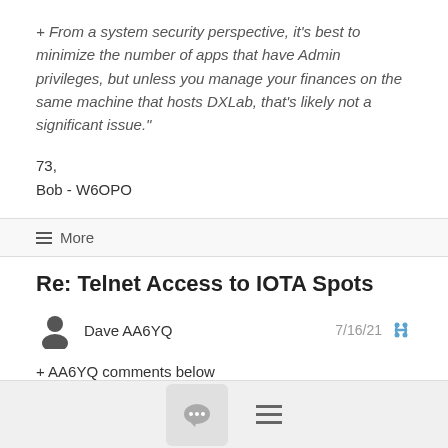+ From a system security perspective, it's best to minimize the number of apps that have Admin privileges, but unless you manage your finances on the same machine that hosts DXLab, that's likely not a significant issue."
73,
Bob - W6OPO
≡ More
Re: Telnet Access to IOTA Spots
Dave AA6YQ   7/16/21
+ AA6YQ comments below